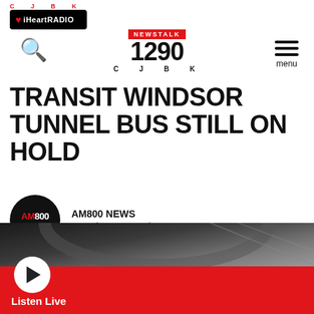CJBK iHeartRADIO NEWSTALK 1290 CJBK
TRANSIT WINDSOR TUNNEL BUS STILL ON HOLD
AM800 NEWS
Tuesday, May 24th 2022 - 3:16 pm
[Figure (photo): Tunnel interior photo with dark curved ceiling and play button overlay on red listen live bar]